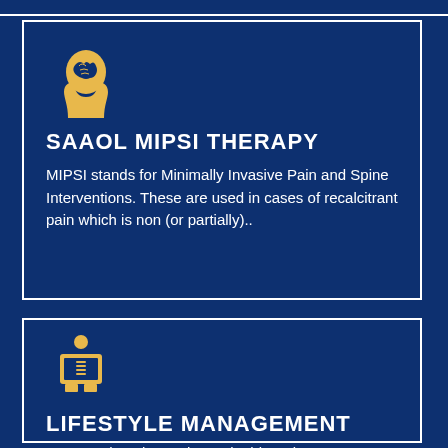[Figure (illustration): Yellow brain/head silhouette icon on dark blue background]
SAAOL MIPSI THERAPY
MIPSI stands for Minimally Invasive Pain and Spine Interventions. These are used in cases of recalcitrant pain which is non (or partially)..
[Figure (illustration): Yellow medical/spine scan person icon on dark blue background]
LIFESTYLE MANAGEMENT
A comprehensive and sustainable Pain treatment